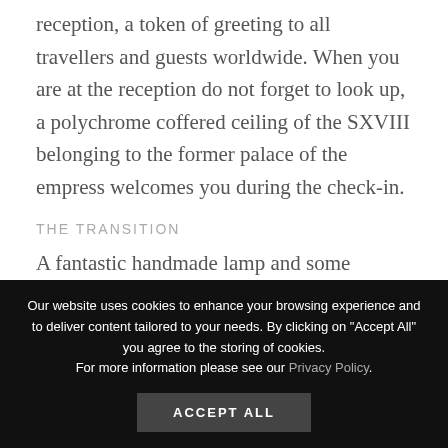reception, a token of greeting to all travellers and guests worldwide. When you are at the reception do not forget to look up, a polychrome coffered ceiling of the SXVIII belonging to the former palace of the empress welcomes you during the check-in.
THE TRANSITION
A fantastic handmade lamp and some golden showcases light the way to the Central Lobby.
Our website uses cookies to enhance your browsing experience and to deliver content tailored to your needs. By clicking on "Accept All" you agree to the storing of cookies.
For more information please see our Privacy Policy.
ACCEPT ALL